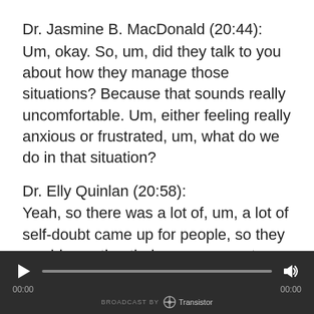Dr. Jasmine B. MacDonald (20:44):
Um, okay. So, um, did they talk to you about how they manage those situations? Because that sounds really uncomfortable. Um, either feeling really anxious or frustrated, um, what do we do in that situation?
Dr. Elly Quinlan (20:58):
Yeah, so there was a lot of, um, a lot of self-doubt came up for people, so they would question their own compentency, question, you know, am I doing the right thing? Am I, you know, a decent psychologist at all? Um, it
[Figure (other): Audio player bar at bottom with dark background, play button, progress bar, volume icon, time displays showing 00:00 on both sides, and Transistor branding]